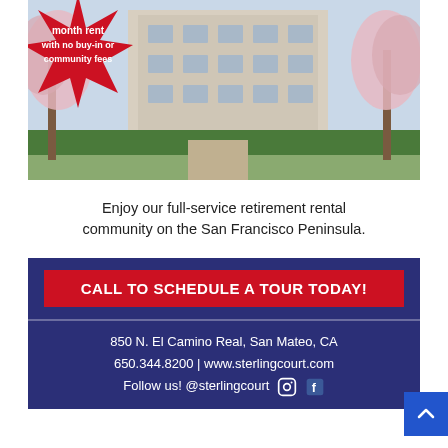[Figure (photo): Exterior photo of Sterling Court retirement community building with cherry blossom trees in foreground and a red starburst badge reading 'with no buy-in or community fees']
Enjoy our full-service retirement rental community on the San Francisco Peninsula.
CALL TO SCHEDULE A TOUR TODAY!
850 N. El Camino Real, San Mateo, CA
650.344.8200 | www.sterlingcourt.com
Follow us! @sterlingcourt